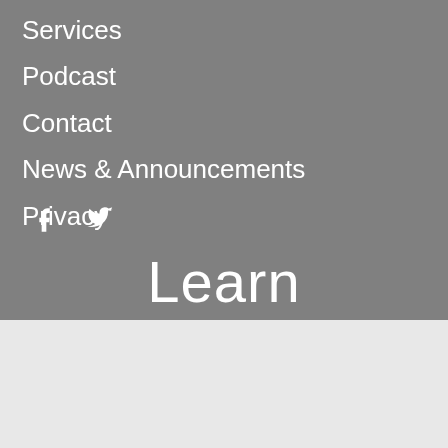Services
Podcast
Contact
News & Announcements
Privacy
[Figure (illustration): Facebook and Twitter social media icons in white]
Learn
Our website cookies to ensure that we give you the best experience on our website and to enable some essential functionality.
Ok   Learn More